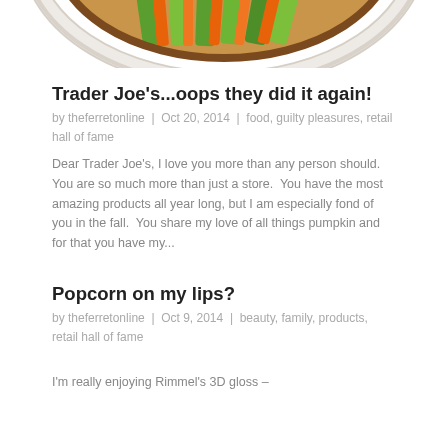[Figure (photo): Cropped top portion of a circular bowl or container with orange, green and brown colors visible at the top edge]
Trader Joe's...oops they did it again!
by theferretonline  |  Oct 20, 2014  |  food, guilty pleasures, retail hall of fame
Dear Trader Joe's, I love you more than any person should.  You are so much more than just a store.  You have the most amazing products all year long, but I am especially fond of you in the fall.  You share my love of all things pumpkin and for that you have my...
Popcorn on my lips?
by theferretonline  |  Oct 9, 2014  |  beauty, family, products, retail hall of fame
I'm really enjoying Rimmel's 3D gloss –